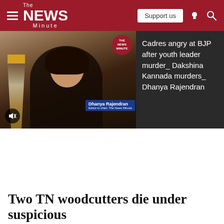The News Minute
[Figure (screenshot): Video thumbnail showing Dhanya Rajendran, Editor-in-chief of The News Minute, speaking to camera. Name tag reads 'Dhanya Rajendran, Editor-in-chief, The News Minute'. TNM logo overlay in top right corner. Mute button visible at bottom left.]
Cadres angry at BJP after youth leader murder_ Dakshina Kannada murders_ Dhanya Rajendran
Two TN woodcutters die under suspicious